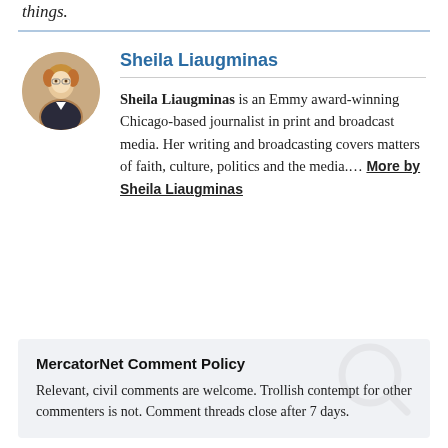things.
Sheila Liaugminas
Sheila Liaugminas is an Emmy award-winning Chicago-based journalist in print and broadcast media. Her writing and broadcasting covers matters of faith, culture, politics and the media.... More by Sheila Liaugminas
MercatorNet Comment Policy
Relevant, civil comments are welcome. Trollish contempt for other commenters is not. Comment threads close after 7 days.